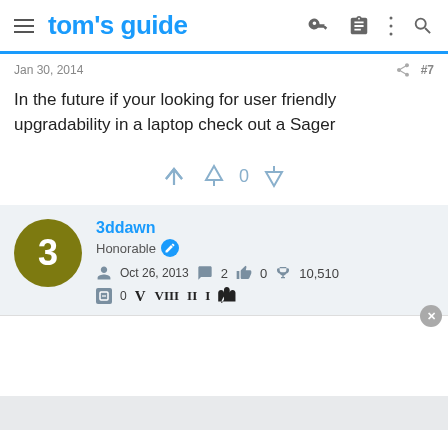tom's guide
Jan 30, 2014  #7
In the future if your looking for user friendly upgradability in a laptop check out a Sager
0
3ddawn
Honorable
Oct 26, 2013  2  0  10,510
0  V  VIII  II  I